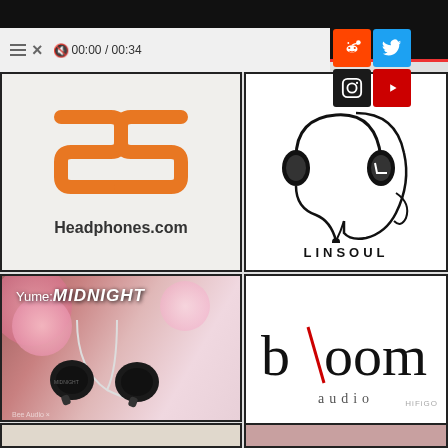[Figure (screenshot): Website/app interface with top navigation bar showing hamburger menu, close button, muted speaker icon, time display '00:00 / 00:34', and social media icons for Reddit, Twitter, Instagram, and YouTube]
[Figure (logo): Headphones.com logo: orange stylized 'H' mark above the text 'Headphones.com' in bold dark font on light gray background]
[Figure (logo): Linsoul logo: headphones silhouette over human head profile outline, with 'LINSOUL' text in bold spaced capitals below]
[Figure (photo): Yume Midnight IEM product photo showing black in-ear monitors labeled 'MIDNIGHT' against pink floral background, with 'Yume:MIDNIGHT' text overlay]
[Figure (logo): Bloom Audio logo: 'b\oom' in thin serif letters with a red diagonal slash between 'b' and 'oom', and 'audio' in spaced lowercase below]